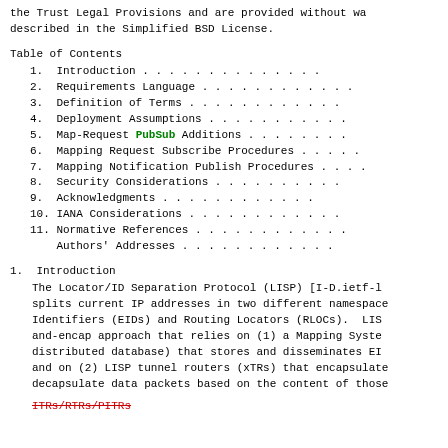the Trust Legal Provisions and are provided without wa described in the Simplified BSD License.
Table of Contents
1.  Introduction . . . . . . . . . . . .
2.  Requirements Language . . . . . . . . . . .
3.  Definition of Terms . . . . . . . . . . . .
4.  Deployment Assumptions . . . . . . . . . . .
5.  Map-Request PubSub Additions . . . . . . . .
6.  Mapping Request Subscribe Procedures . . . . .
7.  Mapping Notification Publish Procedures . . . .
8.  Security Considerations . . . . . . . . . .
9.  Acknowledgments . . . . . . . . . . . .
10. IANA Considerations . . . . . . . . . . .
11. Normative References . . . . . . . . . . .
Authors' Addresses . . . . . . . . . . . .
1.  Introduction
The Locator/ID Separation Protocol (LISP) [I-D.ietf-l splits current IP addresses in two different namespace Identifiers (EIDs) and Routing Locators (RLOCs). LIS and-encap approach that relies on (1) a Mapping Syste distributed database) that stores and disseminates EI and on (2) LISP tunnel routers (xTRs) that encapsulate decapsulate data packets based on the content of those
ITRs/RTRs/PITRs